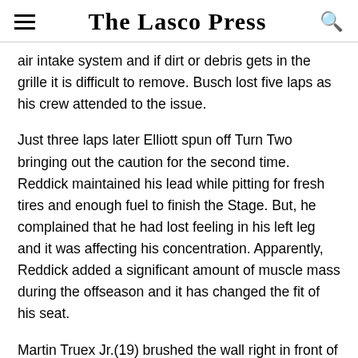The Lasco Press
air intake system and if dirt or debris gets in the grille it is difficult to remove. Busch lost five laps as his crew attended to the issue.
Just three laps later Elliott spun off Turn Two bringing out the caution for the second time. Reddick maintained his lead while pitting for fresh tires and enough fuel to finish the Stage. But, he complained that he had lost feeling in his left leg and it was affecting his concentration. Apparently, Reddick added a significant amount of muscle mass during the offseason and it has changed the fit of his seat.
Martin Truex Jr.(19) brushed the wall right in front of Cindric causing the Daytona 500 champion to take evasive action. Cindric made slight contact with Kyle Larson(5), fortunately,